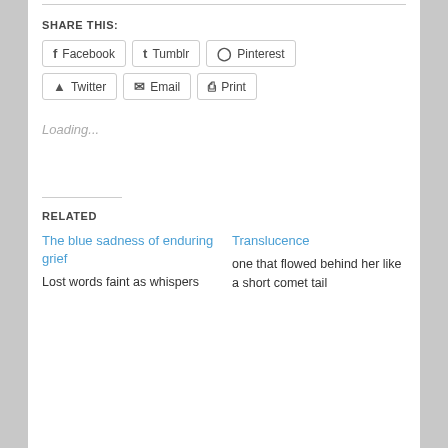SHARE THIS:
Facebook
Tumblr
Pinterest
Twitter
Email
Print
Loading...
RELATED
The blue sadness of enduring grief
Lost words faint as whispers
Translucence
one that flowed behind her like a short comet tail